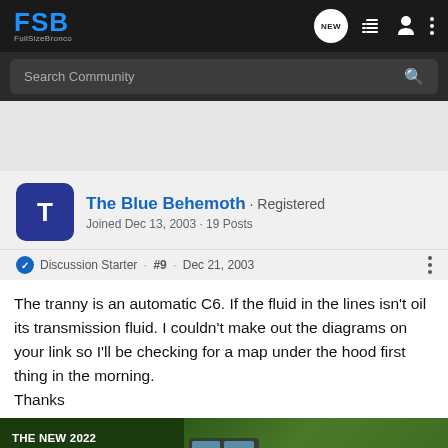FSB FullSizeBronco
Search Community
The Blue Behemoth · Registered
Joined Dec 13, 2003 · 19 Posts
Discussion Starter · #9 · Dec 21, 2003
The tranny is an automatic C6. If the fluid in the lines isn't oil its transmission fluid. I couldn't make out the diagrams on your link so I'll be checking for a map under the hood first thing in the morning.
Thanks
[Figure (photo): Chevrolet Silverado 2022 advertisement banner showing truck with text THE NEW 2022 SILVERADO. and Explore button]